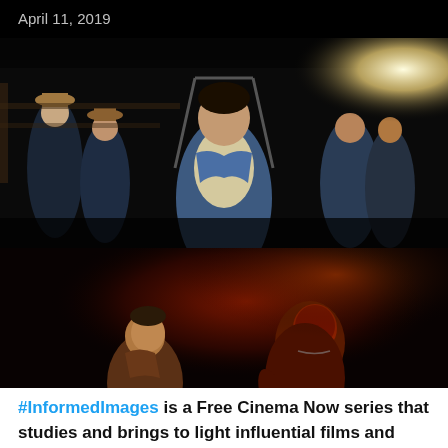April 11, 2019
[Figure (photo): Dark cinematic scene: a young man in a denim jacket stands in the center foreground facing the camera, surrounded by a group of men in a dark outdoor setting with a bright light in the background upper right.]
[Figure (photo): Dark cinematic scene lit in deep red and orange tones: two men, one on the left looking upward in a brown jacket, and one on the right leaning forward covered in a dark substance, with a mustache, both dramatically lit.]
#InformedImages is a Free Cinema Now series that studies and brings to light influential films and other examples of